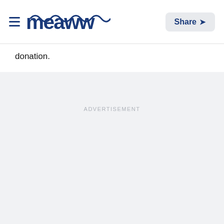Meaww | Share
donation.
ADVERTISEMENT